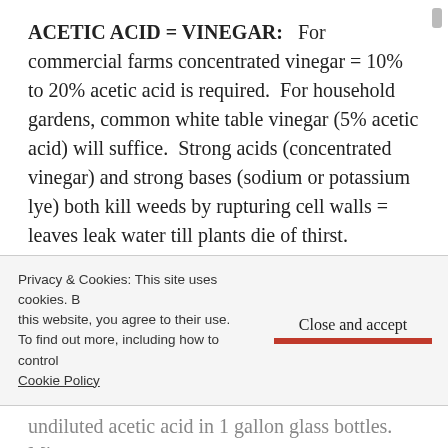ACETIC ACID = VINEGAR:  For commercial farms concentrated vinegar = 10% to 20% acetic acid is required.  For household gardens, common white table vinegar (5% acetic acid) will suffice.  Strong acids (concentrated vinegar) and strong bases (sodium or potassium lye) both kill weeds by rupturing cell walls = leaves leak water till plants die of thirst.
Vinegar Herbicide Formula by Weight for Farming:
Privacy & Cookies: This site uses cookies. By continuing to use this website, you agree to their use. To find out more, including how to control cookies, see here: Cookie Policy
undiluted acetic acid in 1 gallon glass bottles.  Mix